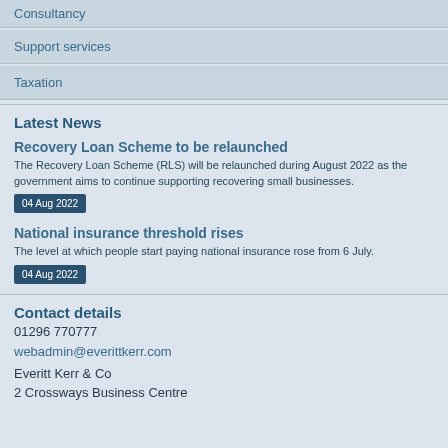Consultancy
Support services
Taxation
Latest News
Recovery Loan Scheme to be relaunched
The Recovery Loan Scheme (RLS) will be relaunched during August 2022 as the government aims to continue supporting recovering small businesses.
04 Aug 2022
National insurance threshold rises
The level at which people start paying national insurance rose from 6 July.
04 Aug 2022
Contact details
01296 770777
webadmin@everittkerr.com
Everitt Kerr & Co
2 Crossways Business Centre